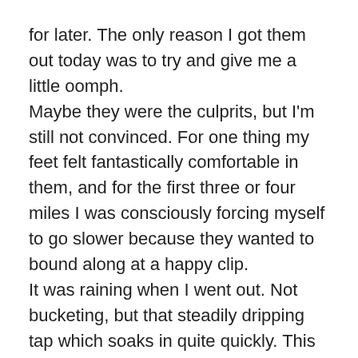for later. The only reason I got them out today was to try and give me a little oomph.
Maybe they were the culprits, but I'm still not convinced. For one thing my feet felt fantastically comfortable in them, and for the first three or four miles I was consciously forcing myself to go slower because they wanted to bound along at a happy clip.
It was raining when I went out. Not bucketing, but that steadily dripping tap which soaks in quite quickly. This was a first for me, as I'm very much a fair-weather plodder, but I gave myself an 'I'm a big girl' and 'my apple phone is waterproof now' talk and gingerly stepped outside. The temperature, once I got going, was perfect really, not cold at all but not overly hot, and as I said, with these trainers I had a spring in my step.